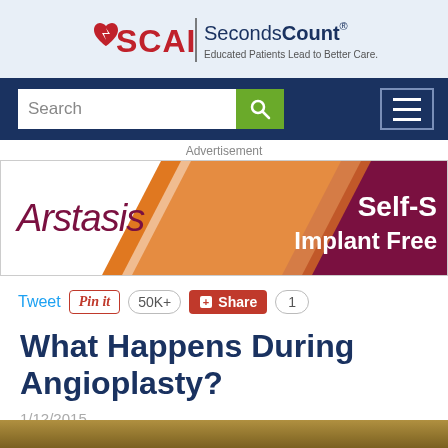[Figure (logo): SCAI SecondsCount logo with tagline 'Educated Patients Lead to Better Care.']
[Figure (screenshot): Navigation bar with search box and hamburger menu on dark blue background]
Advertisement
[Figure (illustration): Arstasis advertisement banner with orange and maroon diagonal stripe, text: 'Self-S Implant Free']
[Figure (screenshot): Social sharing buttons: Tweet, Pin it, 50K+, Share, 1]
What Happens During Angioplasty?
1/12/2015